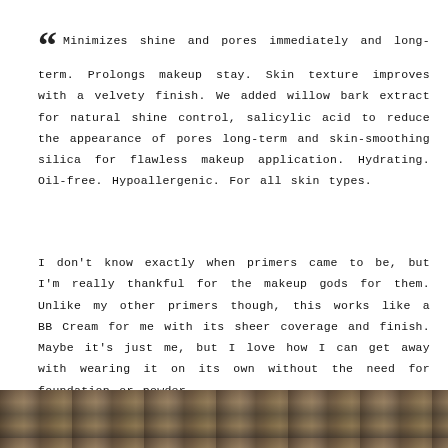“ Minimizes shine and pores immediately and long-term. Prolongs makeup stay. Skin texture improves with a velvety finish. We added willow bark extract for natural shine control, salicylic acid to reduce the appearance of pores long-term and skin-smoothing silica for flawless makeup application. Hydrating. Oil-free. Hypoallergenic. For all skin types.
I don't know exactly when primers came to be, but I'm really thankful for the makeup gods for them. Unlike my other primers though, this works like a BB Cream for me with its sheer coverage and finish. Maybe it's just me, but I love how I can get away with wearing it on its own without the need for foundation or powder.
[Figure (photo): A grainy textured photograph strip at the bottom of the page, showing an outdoor or natural scene with muted earth tones.]